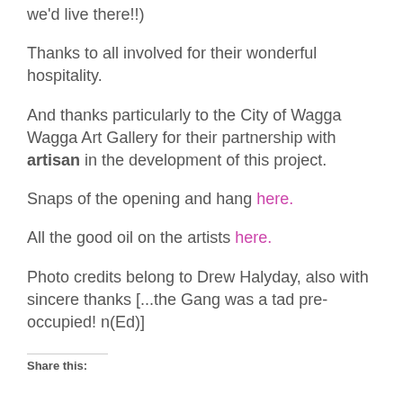we'd live there!!)
Thanks to all involved for their wonderful hospitality.
And thanks particularly to the City of Wagga Wagga Art Gallery for their partnership with artisan in the development of this project.
Snaps of the opening and hang here.
All the good oil on the artists here.
Photo credits belong to Drew Halyday, also with sincere thanks [...the Gang was a tad pre-occupied! n(Ed)]
Share this: